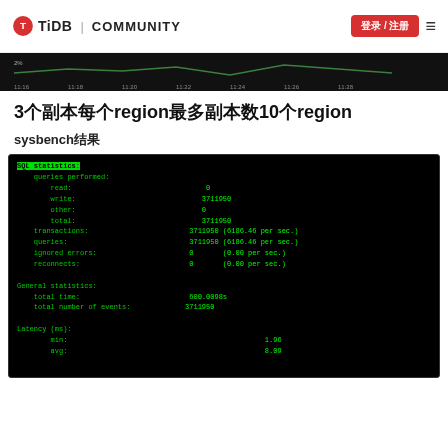TiDB | COMMUNITY  登录 / 注册
[Figure (screenshot): Dark background chart/graph screenshot showing time-series data with x-axis time labels: 11:16, 11:18, 11:20, 11:22, 11:24, 11:26, 11:28]
3个副本每个region最多副本数10个region
sysbench结果
[Figure (screenshot): Terminal/console output showing sysbench SQL statistics: queries performed - read: 0, write: 3711950, other: 0, total: 3711950; transactions: 3711950 (6186.46 per sec.); queries: 3711950 (6186.46 per sec.); ignored errors: 0 (0.00 per sec.); reconnects: 0 (0.00 per sec.); General statistics: total time: 600.0098s, total number of events: 3711950; Latency (ms): min: 1.96, avg: 8.09]